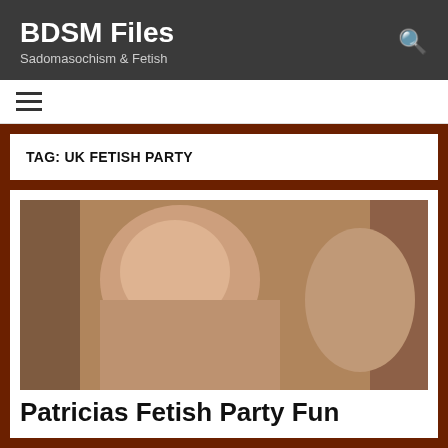BDSM Files
Sadomasochism & Fetish
TAG: UK FETISH PARTY
[Figure (photo): A photograph used as article thumbnail image]
Patricias Fetish Party Fun